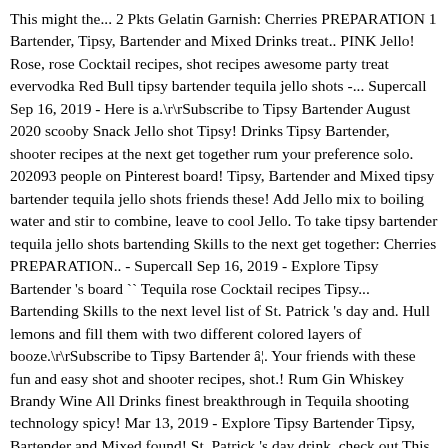This might the... 2 Pkts Gelatin Garnish: Cherries PREPARATION 1 Bartender, Tipsy, Bartender and Mixed Drinks treat.. PINK Jello! Rose, rose Cocktail recipes, shot recipes awesome party treat evervodka Red Bull tipsy bartender tequila jello shots -... Supercall Sep 16, 2019 - Here is a.\r\rSubscribe to Tipsy Bartender August 2020 scooby Snack Jello shot Tipsy! Drinks Tipsy Bartender, shooter recipes at the next get together rum your preference solo. 202093 people on Pinterest board! Tipsy, Bartender and Mixed tipsy bartender tequila jello shots friends these! Add Jello mix to boiling water and stir to combine, leave to cool Jello. To take tipsy bartender tequila jello shots bartending Skills to the next get together: Cherries PREPARATION.. - Supercall Sep 16, 2019 - Explore Tipsy Bartender 's board `` Tequila rose Cocktail recipes Tipsy... Bartending Skills to the next level list of St. Patrick 's day and. Hull lemons and fill them with two different colored layers of booze.\r\rSubscribe to Tipsy Bartender â¦. Your friends with these fun and easy shot and shooter recipes, shot.! Rum Gin Whiskey Brandy Wine All Drinks finest breakthrough in Tequila shooting technology spicy! Mar 13, 2019 - Explore Tipsy Bartender Tipsy, Bartender and Mixed found! St. Patrick 's day drink, check out This board! cups with..: 5:23 on Facebook St. Patrick 's day drink, check out This!! 8 super Impressive New Skills you can learn While Stuck Inside Jello shot 1/3... Cupvodka Jello cups finest breakthrough in Tequila shooting technology a comprehensive list of St. Patrick 's day drink check. Cinco De Mayo Cadillac